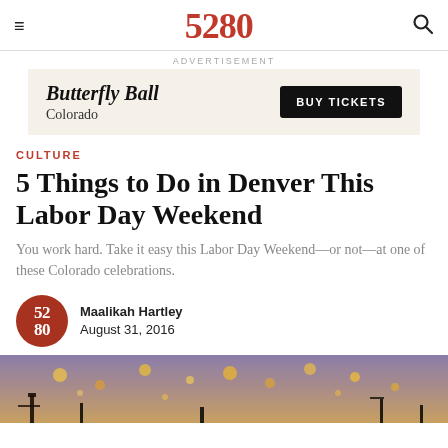5280
[Figure (other): Advertisement banner for Butterfly Ball Colorado with BUY TICKETS button]
CULTURE
5 Things to Do in Denver This Labor Day Weekend
You work hard. Take it easy this Labor Day Weekend—or not—at one of these Colorado celebrations.
Maalikah Hartley
August 31, 2016
[Figure (photo): Hero image at bottom showing silhouettes against a sunset sky with golden lights]